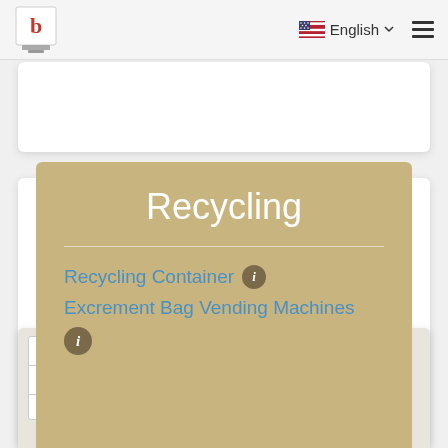b | English ☰
[Figure (screenshot): Partial white card/panel at top of page, partially visible]
Recycling
Recycling Container ℹ
Excrement Bag Vending Machines ℹ
[Figure (map): Map view with zoom controls (+/-) and partial road/path lines visible in tan/beige colors on light background]